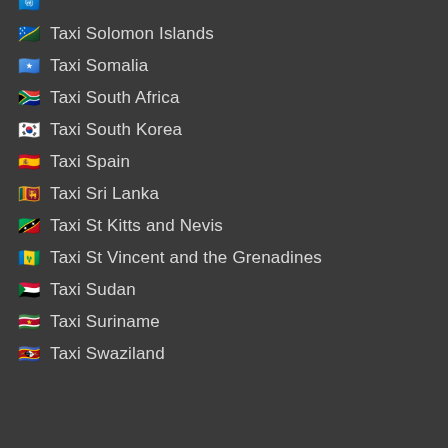Taxi Solomon Islands
Taxi Somalia
Taxi South Africa
Taxi South Korea
Taxi Spain
Taxi Sri Lanka
Taxi St Kitts and Nevis
Taxi St Vincent and the Grenadines
Taxi Sudan
Taxi Suriname
Taxi Swaziland